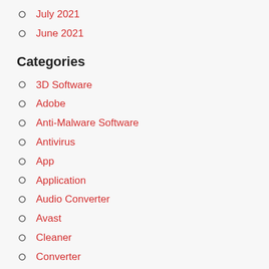July 2021
June 2021
Categories
3D Software
Adobe
Anti-Malware Software
Antivirus
App
Application
Audio Converter
Avast
Cleaner
Converter
Data Recovery Software